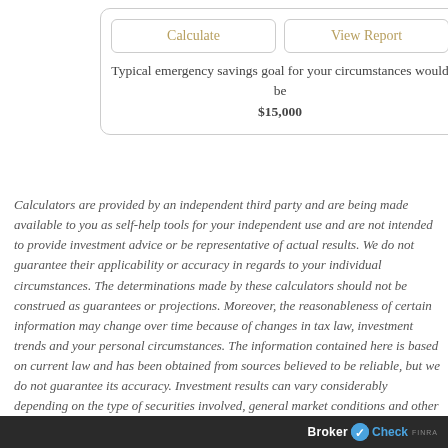[Figure (screenshot): UI widget with Calculate and View Report buttons, and result text showing typical emergency savings goal of $15,000]
Calculators are provided by an independent third party and are being made available to you as self-help tools for your independent use and are not intended to provide investment advice or be representative of actual results. We do not guarantee their applicability or accuracy in regards to your individual circumstances. The determinations made by these calculators should not be construed as guarantees or projections. Moreover, the reasonableness of certain information may change over time because of changes in tax law, investment trends and your personal circumstances. The information contained here is based on current law and has been obtained from sources believed to be reliable, but we do not guarantee its accuracy. Investment results can vary considerably depending on the type of securities involved, general market conditions and other factors. It is important that you periodically review and update your plans. Raymond James does not provide tax or legal advice. You should contact your tax or legal advisor concerning your particular situation. All investments carry a degree of risk, and past performance is not a guarantee of future results. Asset allocation and diversification do not guarantee a profit
BrokerCheck FINRA